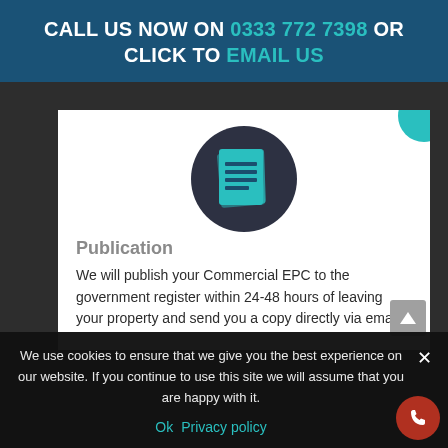CALL US NOW ON 0333 772 7398 OR CLICK TO EMAIL US
[Figure (illustration): Dark circular icon with teal document/pages stack icon inside]
Publication
We will publish your Commercial EPC to the government register within 24-48 hours of leaving your property and send you a copy directly via email.
We use cookies to ensure that we give you the best experience on our website. If you continue to use this site we will assume that you are happy with it.
Ok   Privacy policy